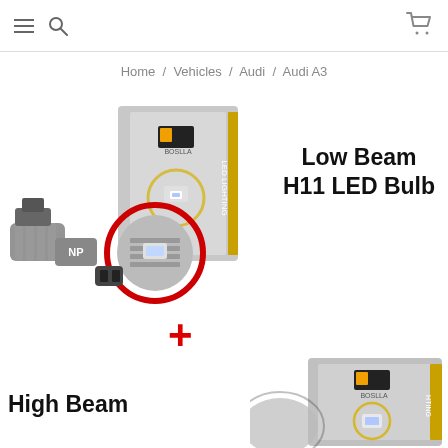≡ 🔍 [cart icon]
Home / Vehicles / Audi / Audi A3
[Figure (photo): BOSLLA branded H11 LED bulb product photo with packaging box showing two LED bulbs with heat sink fins and red ring connector]
Low Beam H11 LED Bulb
+
[Figure (photo): BOSLLA branded LED bulb product box partially visible at bottom right]
High Beam